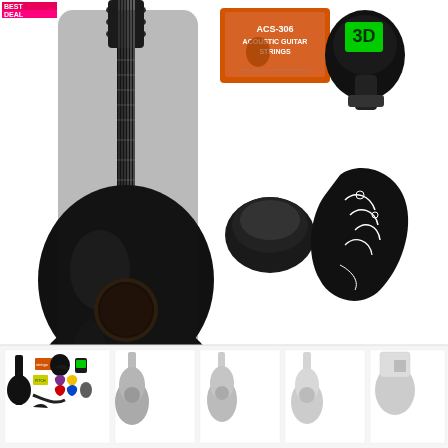[Figure (photo): Product photo composite showing a black acoustic/classical guitar package set with accessories: large black classical guitar with bag, ACS-306 acoustic guitar strings packet, clip-on digital tuner (black with green display), guitar capo (black), decorative black pickguard with floral/scroll design, pitch pipe set (yellow label), guitar strap (black), 12 colorful guitar picks (purple, yellow, orange, black, white, green, red, blue, pink and more), and small thumbnail images along the bottom showing different guitar colors/views. A pink promotional label appears in the top left corner.]